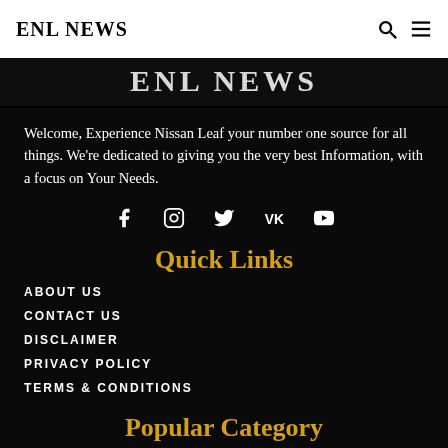ENL NEWS
ENL NEWS
Welcome, Experience Nissan Leaf your number one source for all things. We're dedicated to giving you the very best Information, with a focus on Your Needs.
[Figure (infographic): Social media icons row: Facebook, Instagram, Twitter, VK, YouTube]
Quick Links
ABOUT US
CONTACT US
DISCLAIMER
PRIVACY POLICY
TERMS & CONDITIONS
Popular Category
BUSINESS 413